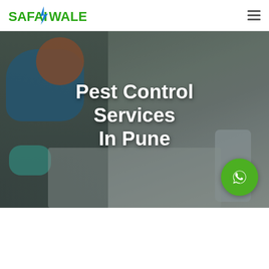SAFAIWALE
[Figure (photo): Hero banner image showing a woman in blue uniform and teal gloves cleaning a floor, with a mop/bucket in the lower right. Image has a dark overlay. White bold text reads 'Pest Control Services In Pune'. A green WhatsApp button is in the lower right of the image.]
Pest Control Services In Pune